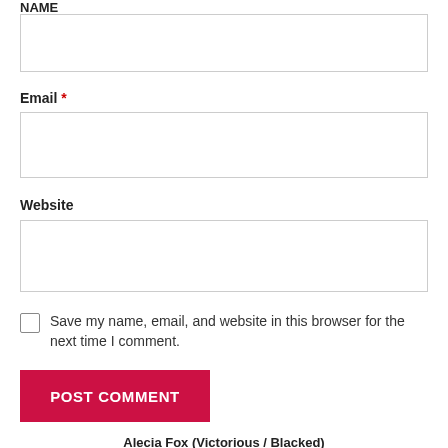NAME
Email *
Website
Save my name, email, and website in this browser for the next time I comment.
POST COMMENT
Alecia Fox (Victorious / Blacked)
1 views · 13 mins ago